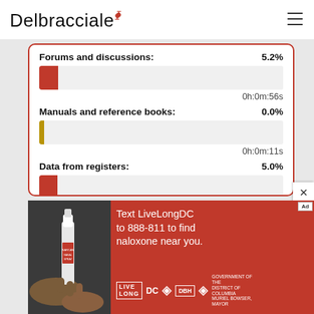Delbracciale
Forums and discussions: 5.2%
[Figure (other): Horizontal progress bar showing Forums and discussions at 5.2%, red fill, small portion filled]
0h:0m:56s
Manuals and reference books: 0.0%
[Figure (other): Horizontal progress bar showing Manuals and reference books at 0.0%, orange/yellow thin fill]
0h:0m:11s
Data from registers: 5.0%
[Figure (other): Horizontal progress bar showing Data from registers at 5.0%, red fill, small portion filled]
0h:0m:56s
[Figure (infographic): Ad banner: Text LiveLongDC to 888-811 to find naloxone near you. Features photo of hands holding naloxone nasal spray and DC government logos.]